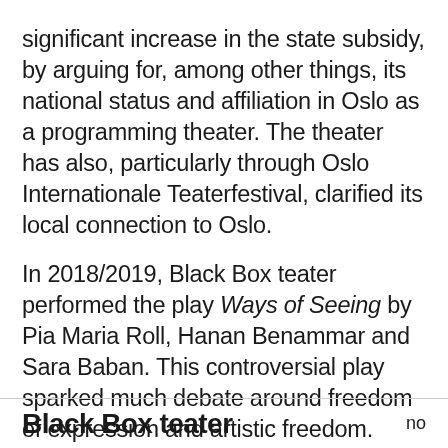significant increase in the state subsidy, by arguing for, among other things, its national status and affiliation in Oslo as a programming theater. The theater has also, particularly through Oslo Internationale Teaterfestival, clarified its local connection to Oslo.
In 2018/2019, Black Box teater performed the play Ways of Seeing by Pia Maria Roll, Hanan Benammar and Sara Baban. This controversial play sparked much debate around freedom of expression and artistic freedom. Three of the creators of the work, as well as the artistic director Sibué-
Black Box teater    no